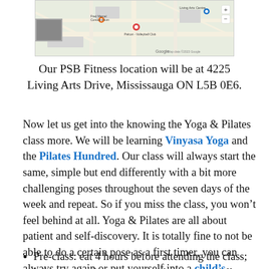[Figure (screenshot): Google Maps screenshot showing the area around 4225 Living Arts Drive, Mississauga ON L5B 0E6, with roads and location markers visible.]
Our PSB Fitness location will be at 4225 Living Arts Drive, Mississauga ON L5B 0E6.
Now let us get into the knowing the Yoga & Pilates class more. We will be learning Vinyasa Yoga and the Pilates Hundred. Our class will always start the same, simple but end differently with a bit more challenging poses throughout the seven days of the week and repeat. So if you miss the class, you won't feel behind at all. Yoga & Pilates are all about patient and self-discovery. It is totally fine to not be able to do a certain pose as a first timer, you can always try again or put yourself into a child's resting pose.
Pre-class: eat 4 hours before attending the class; bring required equipment with you, especially